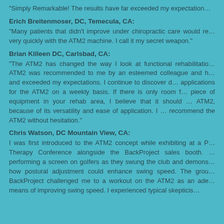“Simply Remarkable! The results have far exceeded my expectation…”
Erich Breitenmoser, DC, Temecula, CA:
“Many patients that didn’t improve under chiropractic care would re… very quickly with the ATM2 machine. I call it my secret weapon.”
Brian Killeen DC, Carlsbad, CA:
“The ATM2 has changed the way I look at functional rehabilitatio… ATM2 was recommended to me by an esteemed colleague and h… and exceeded my expectations. I continue to discover d… applications for the ATM2 on a weekly basis. If there is only room f… piece of equipment in your rehab area, I believe that it should … ATM2, because of its versatility and ease of application. I … recommend the ATM2 without hesitation.”
Chris Watson, DC Mountain View, CA:
I was first introduced to the ATM2 concept while exhibiting at a P… Therapy Conference alongside the BackProject sales booth. … performing a screen on golfers as they swung the club and demons… how postural adjustment could enhance swing speed. The grou… BackProject challenged me to a workout on the ATM2 as an ade… means of improving swing speed. I experienced typical skepticis…